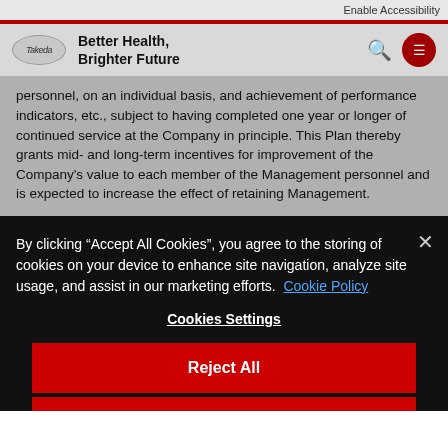Enable Accessibility
Better Health, Brighter Future
personnel, on an individual basis, and achievement of performance indicators, etc., subject to having completed one year or longer of continued service at the Company in principle. This Plan thereby grants mid- and long-term incentives for improvement of the Company's value to each member of the Management personnel and is expected to increase the effect of retaining Management.
By clicking “Accept All Cookies”, you agree to the storing of cookies on your device to enhance site navigation, analyze site usage, and assist in our marketing efforts. Cookie Policy
Cookies Settings
Reject All